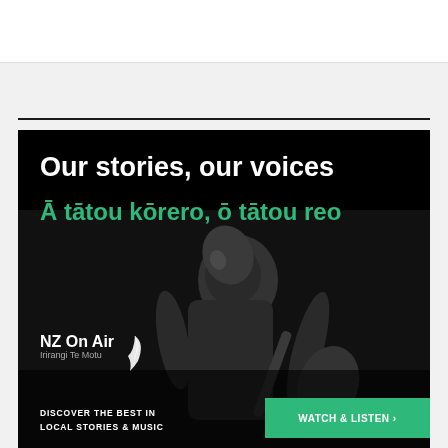[Figure (infographic): NZ On Air advertisement with black background. Shows a person (appearing to sing or perform, head tilted back, holding a guitar) in black and white photography. Text reads 'Our stories, our voices' in white and 'Ā tātou kōrero, ō tātou reo' in green. NZ On Air Irirangi Te Motu logo with feather icon at bottom left. Bottom bar reads 'DISCOVER THE BEST IN LOCAL STORIES & MUSIC' and a green button 'WATCH & LISTEN >'.]